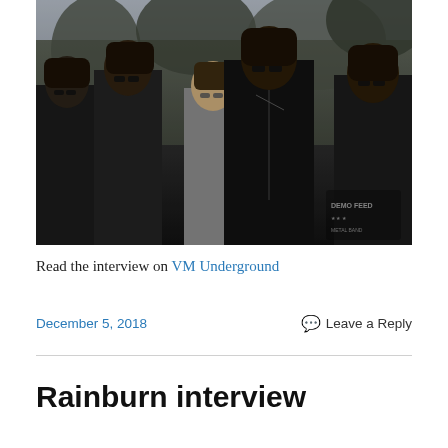[Figure (photo): Black and white photo of five long-haired band members wearing sunglasses and leather jackets, standing outdoors with trees in background. Small band logo visible in lower right corner.]
Read the interview on VM Underground
December 5, 2018
Leave a Reply
Rainburn interview